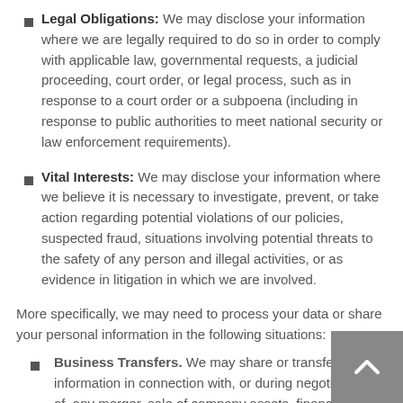Legal Obligations: We may disclose your information where we are legally required to do so in order to comply with applicable law, governmental requests, a judicial proceeding, court order, or legal process, such as in response to a court order or a subpoena (including in response to public authorities to meet national security or law enforcement requirements).
Vital Interests: We may disclose your information where we believe it is necessary to investigate, prevent, or take action regarding potential violations of our policies, suspected fraud, situations involving potential threats to the safety of any person and illegal activities, or as evidence in litigation in which we are involved.
More specifically, we may need to process your data or share your personal information in the following situations:
Business Transfers. We may share or transfer your information in connection with, or during negotiations of, any merger, sale of company assets, financing, or